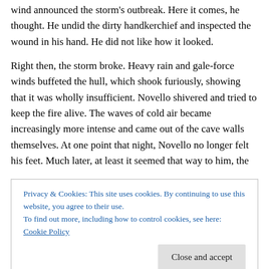wind announced the storm's outbreak. Here it comes, he thought. He undid the dirty handkerchief and inspected the wound in his hand. He did not like how it looked.
Right then, the storm broke. Heavy rain and gale-force winds buffeted the hull, which shook furiously, showing that it was wholly insufficient. Novello shivered and tried to keep the fire alive. The waves of cold air became increasingly more intense and came out of the cave walls themselves. At one point that night, Novello no longer felt his feet. Much later, at least it seemed that way to him, the
Privacy & Cookies: This site uses cookies. By continuing to use this website, you agree to their use.
To find out more, including how to control cookies, see here: Cookie Policy
Close and accept
were crossed over his knees, and in that position could